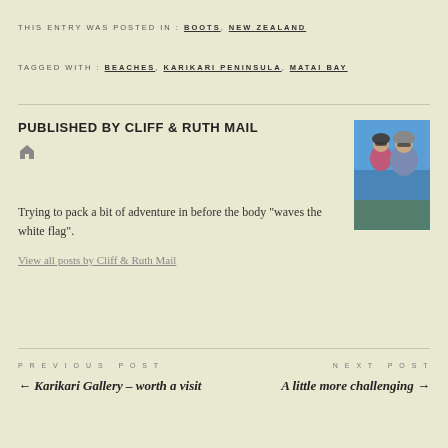THIS ENTRY WAS POSTED IN: BOOTS, NEW ZEALAND
TAGGED WITH: BEACHES, KARIKARI PENINSULA, MATAI BAY
PUBLISHED BY CLIFF & RUTH MAIL
[Figure (photo): Photo of two people (man and woman) wearing helmets and sunglasses outdoors]
Trying to pack a bit of adventure in before the body "waves the white flag".
View all posts by Cliff & Ruth Mail
PREVIOUS POST
← Karikari Gallery – worth a visit
NEXT POST
A little more challenging →